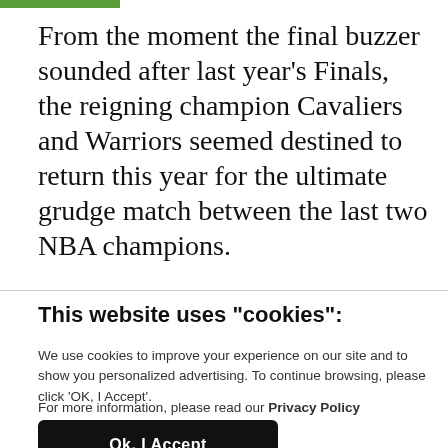From the moment the final buzzer sounded after last year’s Finals, the reigning champion Cavaliers and Warriors seemed destined to return this year for the ultimate grudge match between the last two NBA champions.
The Warriors and their cast of All-Stars led
This website uses "cookies":
We use cookies to improve your experience on our site and to show you personalized advertising. To continue browsing, please click ‘OK, I Accept’.
For more information, please read our Privacy Policy
Ok, I Accept